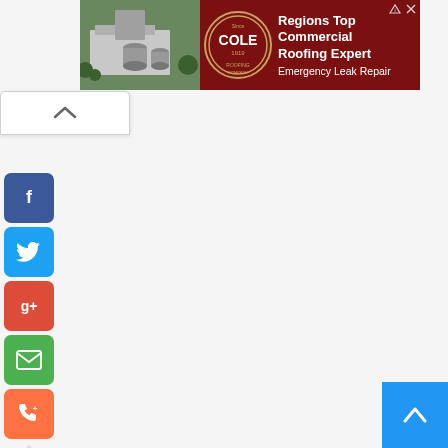[Figure (screenshot): Advertisement banner for Cole Roofing Company. Dark red background with aerial photo of building on left, circular logo in center, text 'Regions Top Commercial Roofing Expert' and 'Emergency Leak Repair' on right. Small AdChoices and close icons in top right corner of ad.]
[Figure (screenshot): White collapse/toggle button with upward chevron arrow, positioned below the ad banner on the left side.]
[Figure (screenshot): Vertical stack of social sharing buttons on the left side: Facebook (blue), Twitter (light blue), Google+ (red/orange), Email (green), Phone/contact (orange). Below them a share counter box showing '0'.]
[Figure (screenshot): Blue scroll-to-top button in the bottom-right corner with a white upward arrow icon.]